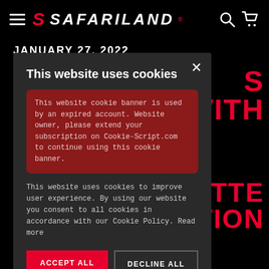[Figure (screenshot): Safariland website navigation bar with hamburger menu icon, Safariland logo in red and white, search icon and cart icon on black background]
JANUARY 27, 2022
S
T WITH
OTTE
ATION
This website uses cookies
This website cookie banner is used by an expired account. Website owner, please extend your subscription on Cookie-Script.com to continue using this cookie banner.
This website uses cookies to improve user experience. By using our website you consent to all cookies in accordance with our Cookie Policy. Read more
ACCEPT ALL
DECLINE ALL
SHOW DETAILS